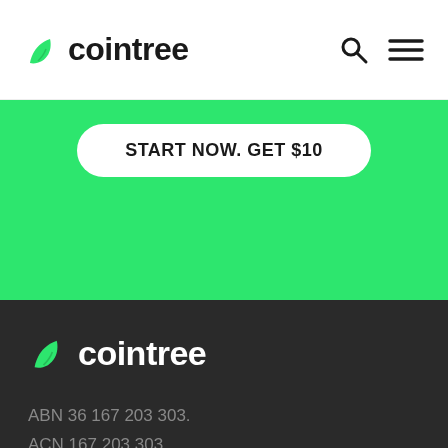[Figure (logo): Cointree logo in header — green leaf icon with 'cointree' wordmark in dark text]
[Figure (other): Search (magnifier) and hamburger menu icons in top-right header]
START NOW. GET $10
[Figure (logo): Cointree logo in footer — green leaf icon with 'cointree' wordmark in white text on dark background]
ABN 36 167 203 303.
ACN 167 203 303.